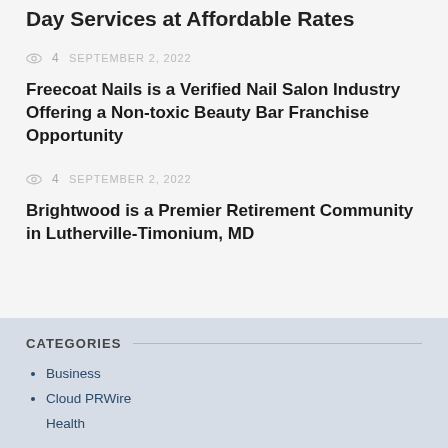Day Services at Affordable Rates
4   SEPTEMBER 2, 2022
Freecoat Nails is a Verified Nail Salon Industry Offering a Non-toxic Beauty Bar Franchise Opportunity
4   SEPTEMBER 2, 2022
Brightwood is a Premier Retirement Community in Lutherville-Timonium, MD
CATEGORIES
Business
Cloud PRWire
Health